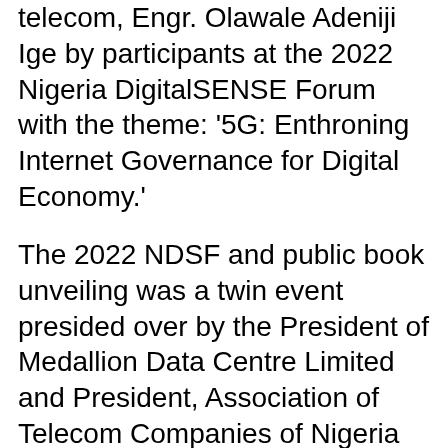telecom, Engr. Olawale Adeniji Ige by participants at the 2022 Nigeria DigitalSENSE Forum with the theme: '5G: Enthroning Internet Governance for Digital Economy.'
The 2022 NDSF and public book unveiling was a twin event presided over by the President of Medallion Data Centre Limited and President, Association of Telecom Companies of Nigeria (ATCON), Engr. Ikechukwu Nnamani, who was represented by Mr. Olatunji Suleiman with a keynote presented the Executive Vice Chairman, NCC, Prof. Umar Garba Danbatta